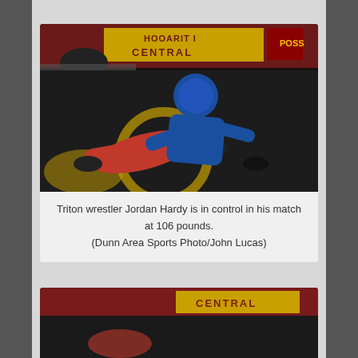[Figure (photo): Triton wrestler Jordan Hardy wearing a blue helmet, in control on the wrestling mat over an opponent in red shorts at 106 pounds match. Background shows 'CENTRAL' signage in maroon and yellow gymnasium.]
Triton wrestler Jordan Hardy is in control in his match at 106 pounds.
(Dunn Area Sports Photo/John Lucas)
[Figure (photo): Partial view of a second wrestling photo showing the gymnasium with CENTRAL signage and wrestlers on the mat.]